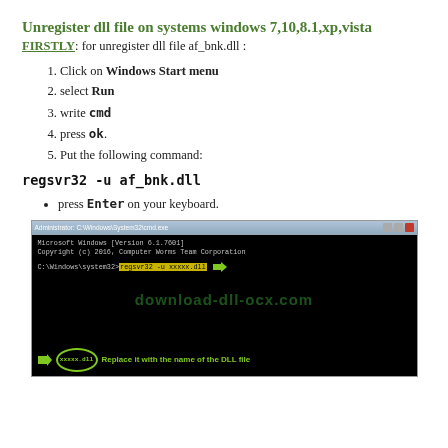Unregister dll file on systems windows 7,10,8.1,xp,vista
FIRSTLY: for unregister dll file af_bnk.dll :
Click on Windows Start menu
select Run
write cmd
press ok.
Put the following command:
regsvr32 -u af_bnk.dll
press Enter on your keyboard.
[Figure (screenshot): Command prompt window showing: Microsoft Windows [Version 6.1.7601] Copyright (c) 2016, Computer Worms Team Corporation. C:\Windows\system32>regsvr32 -u xxxxx.dll with green arrow. Watermark: download-dll-ocx.com. Bottom banner with arrow, circled xxxxx.dll and text: Replace it with the name of the DLL file]